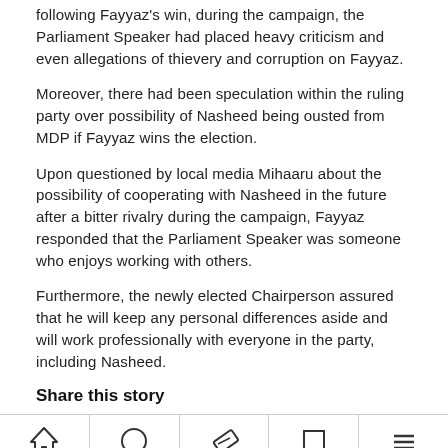following Fayyaz's win, during the campaign, the Parliament Speaker had placed heavy criticism and even allegations of thievery and corruption on Fayyaz.
Moreover, there had been speculation within the ruling party over possibility of Nasheed being ousted from MDP if Fayyaz wins the election.
Upon questioned by local media Mihaaru about the possibility of cooperating with Nasheed in the future after a bitter rivalry during the campaign, Fayyaz responded that the Parliament Speaker was someone who enjoys working with others.
Furthermore, the newly elected Chairperson assured that he will keep any personal differences aside and will work professionally with everyone in the party, including Nasheed.
Share this story
[Figure (infographic): Row of five social sharing icons: home/house icon, circle/person icon, tag/label icon, square icon, and hamburger/menu icon]